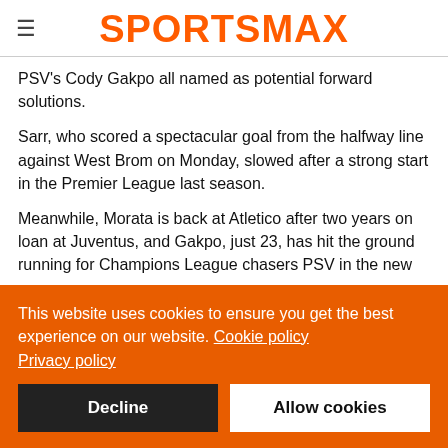SPORTSMAX
PSV's Cody Gakpo all named as potential forward solutions.
Sarr, who scored a spectacular goal from the halfway line against West Brom on Monday, slowed after a strong start in the Premier League last season.
Meanwhile, Morata is back at Atletico after two years on loan at Juventus, and Gakpo, just 23, has hit the ground running for Champions League chasers PSV in the new season.
This website uses cookies to ensure you get the best experience on our website. Cookie policy Privacy policy
Decline
Allow cookies